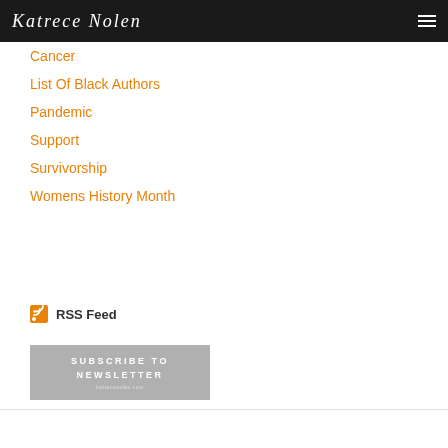Katrece Nolen
Cancer
List Of Black Authors
Pandemic
Support
Survivorship
Womens History Month
RSS Feed
SUBSCRIBE TO NEWSLETTER